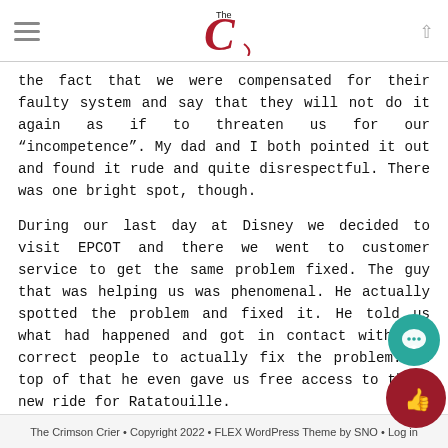The Crimson Crier logo with hamburger menu and up arrow
the fact that we were compensated for their faulty system and say that they will not do it again as if to threaten us for our “incompetence”. My dad and I both pointed it out and found it rude and quite disrespectful. There was one bright spot, though.
During our last day at Disney we decided to visit EPCOT and there we went to customer service to get the same problem fixed. The guy that was helping us was phenomenal. He actually spotted the problem and fixed it. He told us what had happened and got in contact with the correct people to actually fix the problem. On top of that he even gave us free access to their new ride for Ratatouille.
To be frank, Disney World is a pretty enjoyable place, where childhoods spark and come back to life, but that sadly not enough to hold up for all of the things that just we completely wrong, or even ruined a full day at a park
The Crimson Crier • Copyright 2022 • FLEX WordPress Theme by SNO • Log in